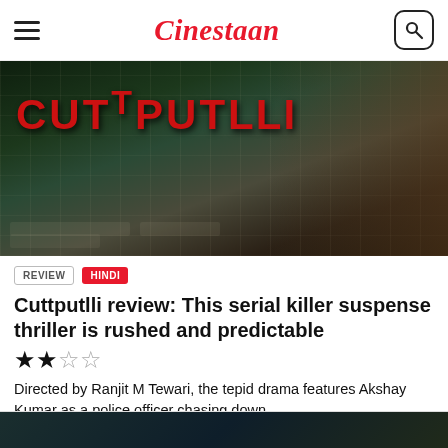Cinestaan
[Figure (photo): Movie banner/poster for Cuttputlli showing the title in large red letters on a dark green/teal background with newspaper clippings and a close-up of a man's face on the right side]
REVIEW   HINDI
Cuttputlli review: This serial killer suspense thriller is rushed and predictable
★★☆☆ (2 out of 4 stars)
Directed by Ranjit M Tewari, the tepid drama features Akshay Kumar as a police officer chasing down...
12 hours ago — Sonal Pandya
[Figure (photo): Partial bottom image peek of another article or scene, dark teal/green color]